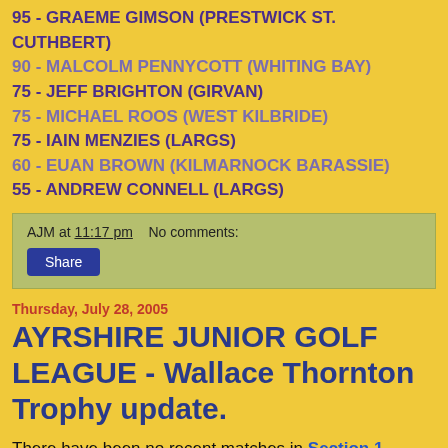95 - GRAEME GIMSON (PRESTWICK ST. CUTHBERT)
90 - MALCOLM PENNYCOTT (WHITING BAY)
75 - JEFF BRIGHTON (GIRVAN)
75 - MICHAEL ROOS (WEST KILBRIDE)
75 - IAIN MENZIES (LARGS)
60 - EUAN BROWN (KILMARNOCK BARASSIE)
55 - ANDREW CONNELL (LARGS)
AJM at 11:17 pm   No comments:
Share
Thursday, July 28, 2005
AYRSHIRE JUNIOR GOLF LEAGUE - Wallace Thornton Trophy update.
There have been no recent matches in Section 1. Present positions in the section are:-